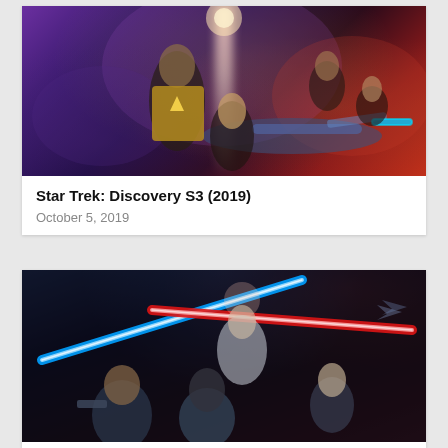[Figure (photo): Star Trek: Discovery S3 promotional poster showing cast members in space setting with starship Enterprise, purple and red cosmic background]
Star Trek: Discovery S3 (2019)
October 5, 2019
[Figure (photo): Star Wars: The Rise of Skywalker promotional poster showing characters with blue and red lightsabers crossing, dark space background]